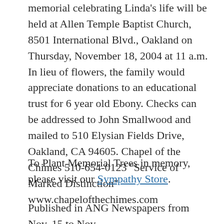memorial celebrating Linda's life will be held at Allen Temple Baptist Church, 8501 International Blvd., Oakland on Thursday, November 18, 2004 at 11 a.m. In lieu of flowers, the family would appreciate donations to an educational trust for 6 year old Ebony. Checks can be addressed to John Smallwood and mailed to 510 Elysian Fields Drive, Oakland, CA 94605. Chapel of the Chimes 510-654-0123 "Service of Marked Distinction" www.chapelofthechimes.com
To Plant Memorial Trees in memory, please visit our Sympathy Store.
Published in ANG Newspapers from Nov. 15 to Nov. 17, 2004.